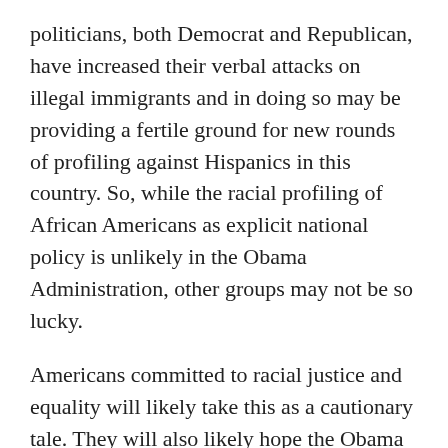politicians, both Democrat and Republican, have increased their verbal attacks on illegal immigrants and in doing so may be providing a fertile ground for new rounds of profiling against Hispanics in this country. So, while the racial profiling of African Americans as explicit national policy is unlikely in the Obama Administration, other groups may not be so lucky.
Americans committed to racial justice and equality will likely take this as a cautionary tale. They will also likely hope the Obama Administration decides to take a national leadership role in ending racial profiling. But if it does, as sociologists we hope the administration won't make the all too common mistake of assuming racial profiling is primarily the result of racial prejudice or even the more widespread psychology of unconscious bias.